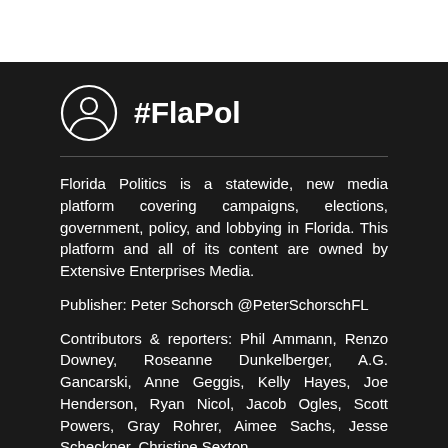#FlaPol
Florida Politics is a statewide, new media platform covering campaigns, elections, government, policy, and lobbying in Florida. This platform and all of its content are owned by Extensive Enterprises Media.
Publisher: Peter Schorsch @PeterSchorschFL
Contributors & reporters: Phil Ammann, Renzo Downey, Roseanne Dunkelberger, A.G. Gancarski, Anne Geggis, Kelly Hayes, Joe Henderson, Ryan Nicol, Jacob Ogles, Scott Powers, Gray Rohrer, Aimee Sachs, Jesse Scheckner, Christine Sexton